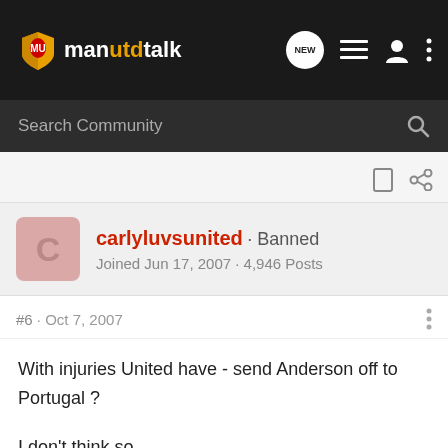manutdtalk
Search Community
carlyluvsunited · Banned
Joined Jun 17, 2007 · 4,946 Posts
#6 · Oct 7, 2007
With injuries United have - send Anderson off to Portugal ?

I don't think so.........